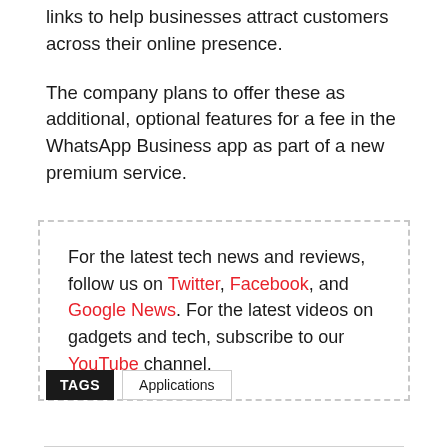links to help businesses attract customers across their online presence.
The company plans to offer these as additional, optional features for a fee in the WhatsApp Business app as part of a new premium service.
For the latest tech news and reviews, follow us on Twitter, Facebook, and Google News. For the latest videos on gadgets and tech, subscribe to our YouTube channel.
TAGS   Applications